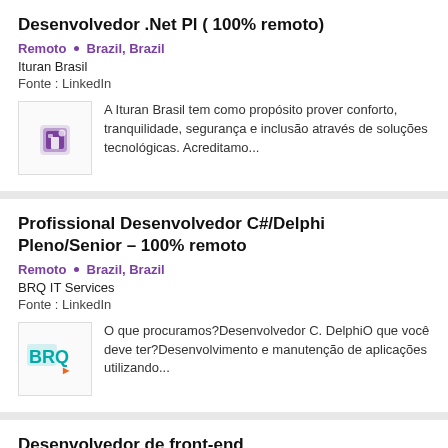Desenvolvedor .Net Pl ( 100% remoto)
Remoto • Brazil, Brazil
Ituran Brasil
Fonte : LinkedIn
[Figure (logo): Ituran Brasil company logo – purple building/app icon]
A Ituran Brasil tem como propósito prover conforto, tranquilidade, segurança e inclusão através de soluções tecnológicas. Acreditamo...
Profissional Desenvolvedor C#/Delphi Pleno/Senior - 100% remoto
Remoto • Brazil, Brazil
BRQ IT Services
Fonte : LinkedIn
[Figure (logo): BRQ IT Services logo – teal/orange lettering]
O que procuramos?Desenvolvedor C. DelphiO que você deve ter?Desenvolvimento e manutenção de aplicações utilizando...
Desenvolvedor de front-end